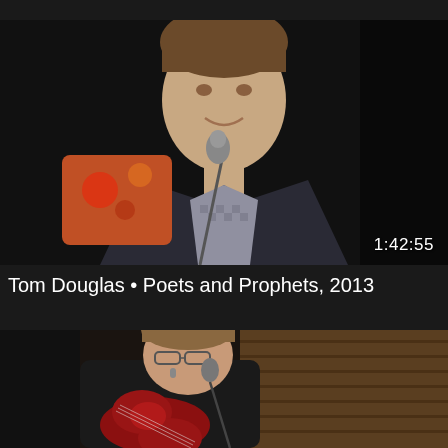[Figure (photo): Man in dark blazer and checkered shirt seated at a microphone, smiling, with an orange patterned cushion to his left. Dark background. Video thumbnail with duration 1:42:55 shown in bottom right.]
Tom Douglas • Poets and Prophets, 2013
[Figure (photo): Man in black shirt playing a red acoustic guitar at a microphone stand, with wooden plank wall in background. Dark setting.]